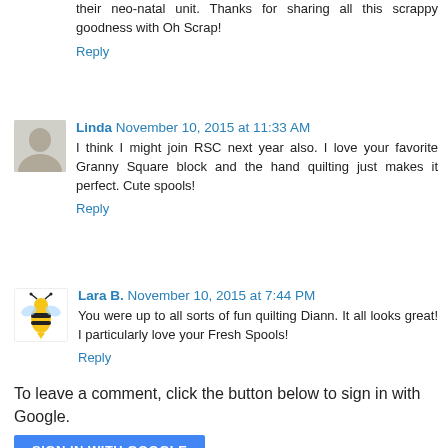their neo-natal unit. Thanks for sharing all this scrappy goodness with Oh Scrap!
Reply
Linda November 10, 2015 at 11:33 AM
I think I might join RSC next year also. I love your favorite Granny Square block and the hand quilting just makes it perfect. Cute spools!
Reply
Lara B. November 10, 2015 at 7:44 PM
You were up to all sorts of fun quilting Diann. It all looks great! I particularly love your Fresh Spools!
Reply
To leave a comment, click the button below to sign in with Google.